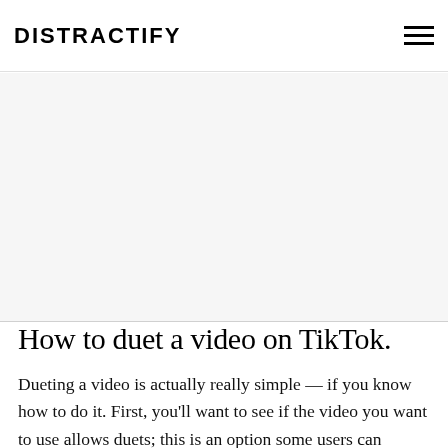DISTRACTIFY
[Figure (other): Advertisement / blank white space area below the navigation header]
How to duet a video on TikTok.
Dueting a video is actually really simple — if you know how to do it. First, you'll want to see if the video you want to use allows duets; this is an option some users can